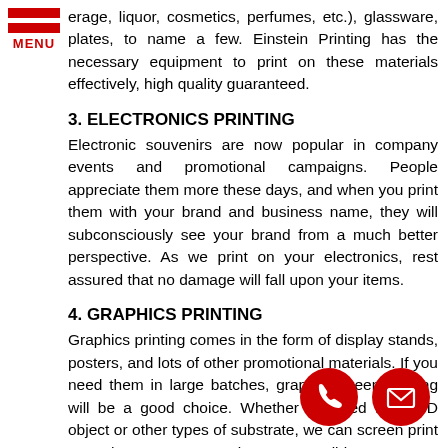[Figure (logo): Red and white hamburger menu icon with two red horizontal bars and the word MENU in red below]
erage, liquor, cosmetics, perfumes, etc.), glassware, plates, to name a few. Einstein Printing has the necessary equipment to print on these materials effectively, high quality guaranteed.
3. ELECTRONICS PRINTING
Electronic souvenirs are now popular in company events and promotional campaigns. People appreciate them more these days, and when you print them with your brand and business name, they will subconsciously see your brand from a much better perspective. As we print on your electronics, rest assured that no damage will fall upon your items.
4. GRAPHICS PRINTING
Graphics printing comes in the form of display stands, posters, and lots of other promotional materials. If you need them in large batches, graphic screen printing will be a good choice. Whether intended for a 3D object or other types of substrate, we can screen print your photos in the most convenient way possible.
[Figure (infographic): Red circular floating phone call button icon]
[Figure (infographic): Red circular floating email button icon]